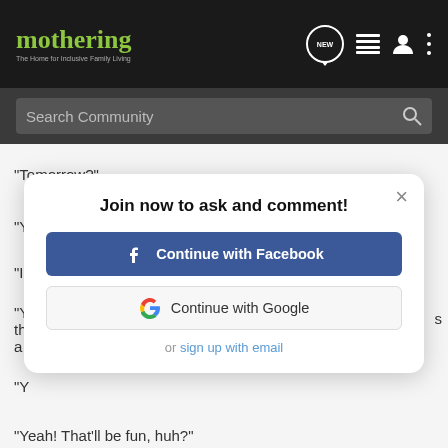mothering – The Home for Inclusive Family Living
"Tomorrow?"
"Y
"I
"Y th a
"Y
[Figure (screenshot): Modal dialog: Join now to ask and comment! with Continue with Facebook button, Continue with Google button, and or sign up with email link]
"Yeah! That'll be fun, huh?"